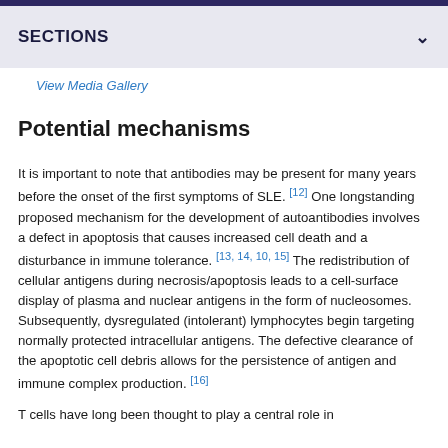SECTIONS
View Media Gallery
Potential mechanisms
It is important to note that antibodies may be present for many years before the onset of the first symptoms of SLE. [12] One longstanding proposed mechanism for the development of autoantibodies involves a defect in apoptosis that causes increased cell death and a disturbance in immune tolerance. [13, 14, 10, 15] The redistribution of cellular antigens during necrosis/apoptosis leads to a cell-surface display of plasma and nuclear antigens in the form of nucleosomes. Subsequently, dysregulated (intolerant) lymphocytes begin targeting normally protected intracellular antigens. The defective clearance of the apoptotic cell debris allows for the persistence of antigen and immune complex production. [16]
T cells have long been thought to play a central role in